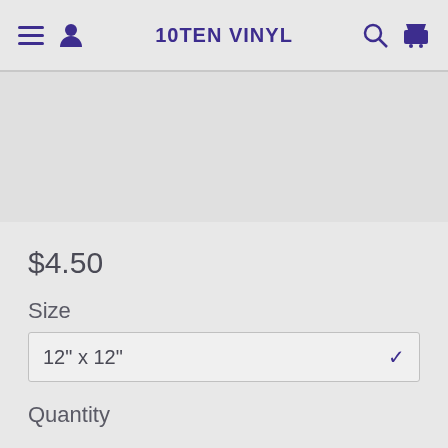10TEN VINYL
$4.50
Size
12" x 12"
Quantity
1